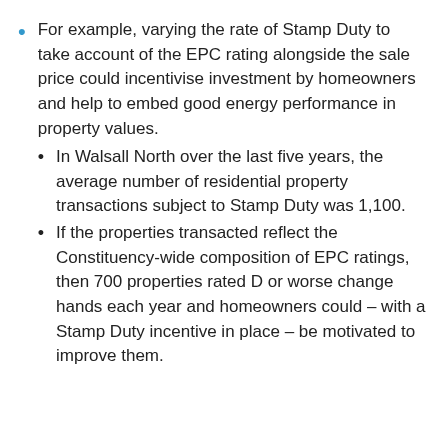For example, varying the rate of Stamp Duty to take account of the EPC rating alongside the sale price could incentivise investment by homeowners and help to embed good energy performance in property values.
In Walsall North over the last five years, the average number of residential property transactions subject to Stamp Duty was 1,100.
If the properties transacted reflect the Constituency-wide composition of EPC ratings, then 700 properties rated D or worse change hands each year and homeowners could – with a Stamp Duty incentive in place – be motivated to improve them.